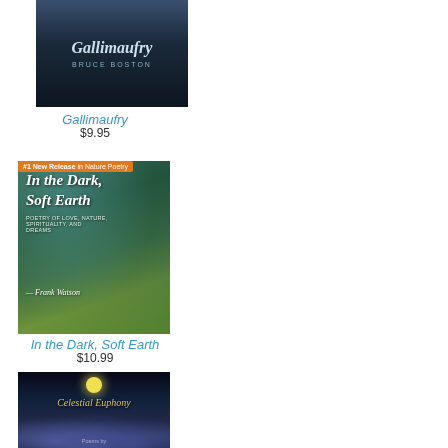[Figure (illustration): Book cover for Gallimaufry by Bruce Boston, dark blue/navy background with italic title text]
Gallimaufry
$9.95
[Figure (illustration): Book cover for In the Dark, Soft Earth by Frank Watson, nature poetry. Green/teal painterly cover with title in white italic text. Badge: #1 New Release in Nature Poetry]
In the Dark, Soft Earth
$10.99
[Figure (illustration): Book cover for Celestial Euphony, dark night sky with yellow moon and cloud figures at bottom]